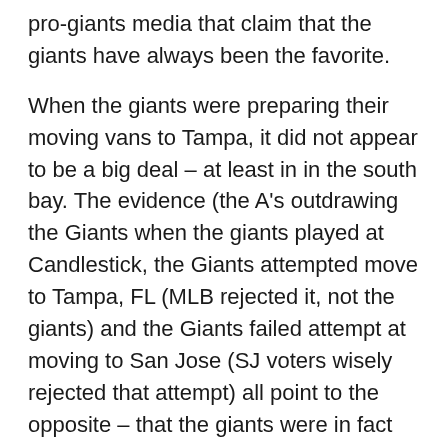pro-giants media that claim that the giants have always been the favorite.
When the giants were preparing their moving vans to Tampa, it did not appear to be a big deal – at least in in the south bay. The evidence (the A's outdrawing the Giants when the giants played at Candlestick, the Giants attempted move to Tampa, FL (MLB rejected it, not the giants) and the Giants failed attempt at moving to San Jose (SJ voters wisely rejected that attempt) all point to the opposite – that the giants were in fact were down for the count by the A's and virtually finished in the bay area (and the A's weren't even attempting to do that – and wished that the Giants stayed locally, when the A's approved the giants moving to San Jose) LOL